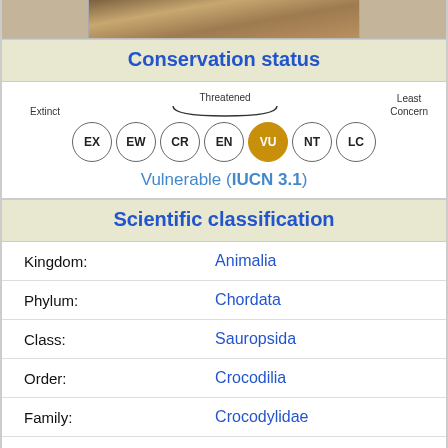[Figure (photo): Top portion of a crocodile photograph, showing sandy/rocky texture, partially cropped]
Conservation status
[Figure (infographic): IUCN conservation status scale showing circles: EX, EW, CR, EN, VU (highlighted in gold), NT, LC. Labels: Extinct, Threatened (brace over CR-EN-VU), Least Concern. Status: Vulnerable (IUCN 3.1)]
Scientific classification
| Rank | Name |
| --- | --- |
| Kingdom: | Animalia |
| Phylum: | Chordata |
| Class: | Sauropsida |
| Order: | Crocodilia |
| Family: | Crocodylidae |
| Subfamily: | Crocodylinae |